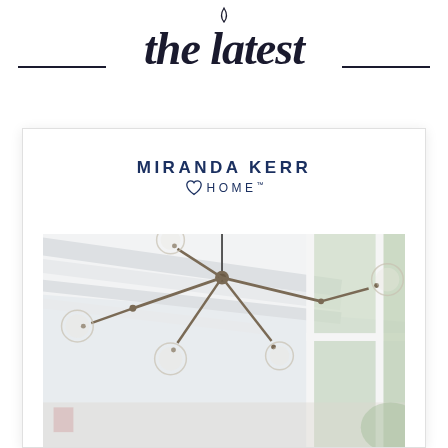the latest
[Figure (logo): Miranda Kerr Home logo with heart icon]
[Figure (photo): A modern branching chandelier with globe bulbs hanging in a bright white room with large windows and green trees outside]